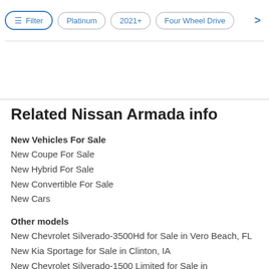Filter | Platinum | 2021+ | Four Wheel Drive
Related Nissan Armada info
New Vehicles For Sale
New Coupe For Sale
New Hybrid For Sale
New Convertible For Sale
New Cars
Other models
New Chevrolet Silverado-3500Hd for Sale in Vero Beach, FL
New Kia Sportage for Sale in Clinton, IA
New Chevrolet Silverado-1500 Limited for Sale in